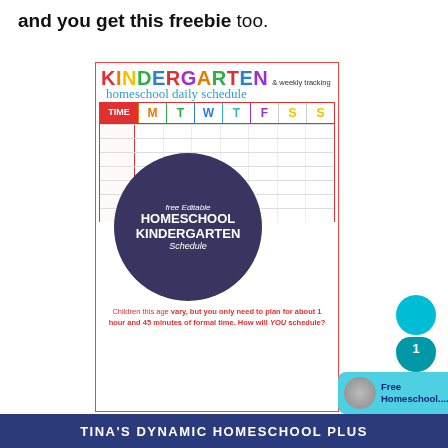and you get this freebie too.
[Figure (illustration): Kindergarten homeschool daily schedule & weekly tracking freebie preview card. Shows a colorful grid schedule with TIME, M, T, W, T, F, S, S columns. A large dark navy circle overlay reads 'free Editable HOMESCHOOL KINDERGARTEN Schedule'. Below is a speech bubble: 'Children this age vary, but you only need to plan for about 1 hour and 45 minutes of formal time. How will YOU schedule?']
TINA'S DYNAMIC HOMESCHOOL PLUS